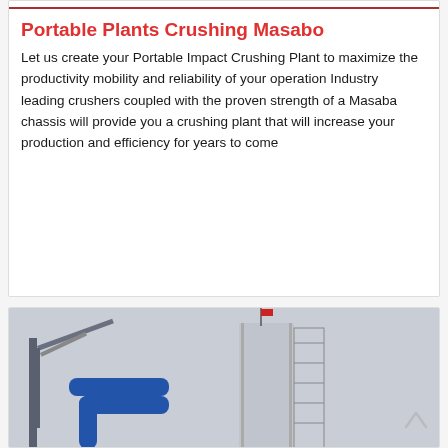[Figure (photo): Partial view of industrial crushing/processing equipment at top of first card]
Portable Plants Crushing Masabo
Let us create your Portable Impact Crushing Plant to maximize the productivity mobility and reliability of your operation Industry leading crushers coupled with the proven strength of a Masaba chassis will provide you a crushing plant that will increase your production and efficiency for years to come
[Figure (photo): Industrial plant photo showing conveyor structure, blue pipes, and a tall silo/tower with flag on top, against a grey sky]